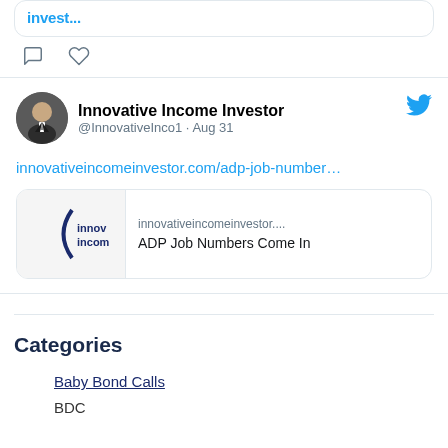[Figure (screenshot): Top of a tweet card showing truncated blue bold text link and social action icons (comment bubble and heart)]
[Figure (screenshot): Twitter tweet card from Innovative Income Investor (@InnovativeInco1) dated Aug 31 with a link to innovativeincomeinvestor.com/adp-job-number... and a link preview card showing the Innovative Income Investor logo and 'ADP Job Numbers Come In']
Categories
Baby Bond Calls
BDC